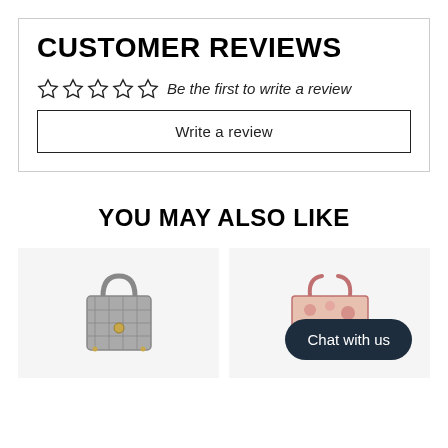CUSTOMER REVIEWS
☆☆☆☆☆  Be the first to write a review
Write a review
YOU MAY ALSO LIKE
[Figure (photo): Gray quilted Lady Dior mini handbag with gold hardware on a light gray background]
[Figure (photo): Pink floral embroidered Christian Dior tote bag on a light pink background, with a dark navy 'Chat with us' button overlay]